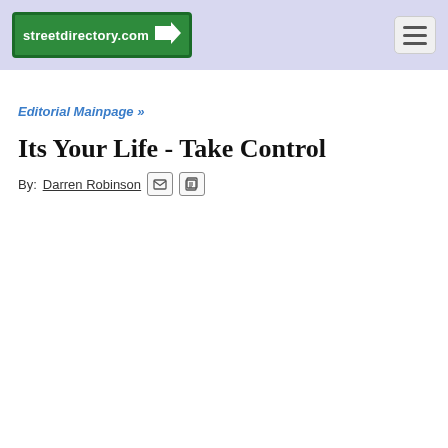streetdirectory.com
Editorial Mainpage »
Its Your Life - Take Control
By: Darren Robinson